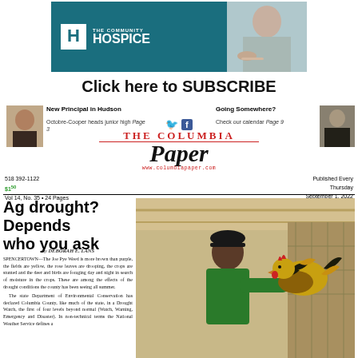[Figure (photo): The Community Hospice advertisement banner with teal/blue background, white H logo, and photo of elderly person's hands]
Click here to SUBSCRIBE
[Figure (photo): Small portrait photo of a smiling woman (left teaser)]
New Principal in Hudson
Octobre-Cooper heads junior high Page 3
Going Somewhere?
Check our calendar Page 9
[Figure (photo): Small portrait photo of a man in black (right teaser)]
The Columbia Paper
518 392-1122
$1.50
Vol 14, No. 35 • 24 Pages
www.columbiapaper.com
Published Every Thursday
September 1, 2022
Ag drought? Depends who you ask
By DEBORAH E. LANS
SPENCERTOWN—The Joe Pye Weed is more brown than purple, the fields are yellow, the rose leaves are drooping, the crops are stunted and the deer and birds are foraging day and night in search of moisture in the crops. These are among the effects of the drought conditions the county has been seeing all summer. The state Department of Environmental Conservation has declared Columbia County, like much of the state, in a Drought Watch, the first of four levels beyond normal (Watch, Warning, Emergency and Disaster). In non-technical terms the National Weather Service defines a
[Figure (photo): Photo of a child in a green shirt and black cap holding a colorful rooster/chicken at what appears to be a fair or agricultural show]